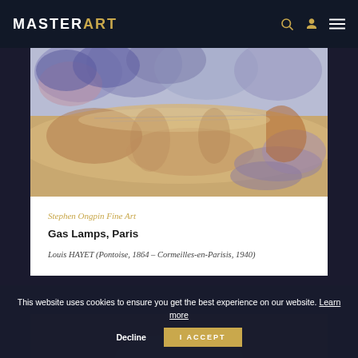MASTERART
[Figure (illustration): Watercolor painting 'Gas Lamps, Paris' — an impressionistic scene with warm sandy tones and blue/purple abstract figures, loose brushwork]
Stephen Ongpin Fine Art
Gas Lamps, Paris
Louis HAYET (Pontoise, 1864 - Cormeilles-en-Parisis, 1940)
This website uses cookies to ensure you get the best experience on our website. Learn more
Decline
I ACCEPT